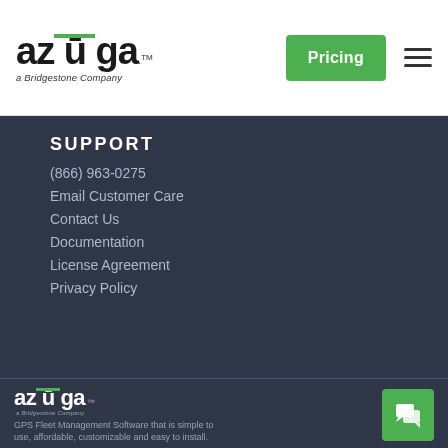[Figure (logo): Azuga logo with green bar over the u, 'a Bridgestone Company' tagline, Pricing green button, hamburger menu icon]
SUPPORT
(866) 963-0275
Email Customer Care
Contact Us
Documentation
License Agreement
Privacy Policy
[Figure (logo): Azuga logo (white text, green bar over u) with 'a Bridgestone Company' subtitle]
GPS Fleet Management Software that is simple to use, affordable, customizable and easy to install.
[Figure (other): Green chat/support button with speech bubble icon]